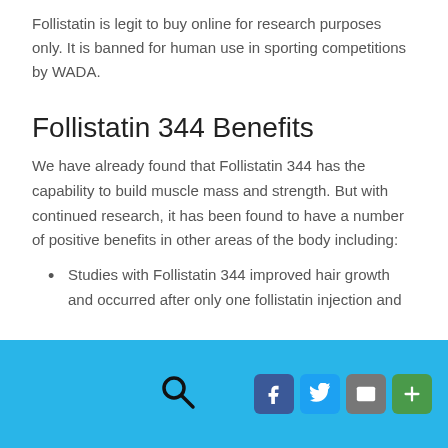Follistatin is legit to buy online for research purposes only. It is banned for human use in sporting competitions by WADA.
Follistatin 344 Benefits
We have already found that Follistatin 344 has the capability to build muscle mass and strength. But with continued research, it has been found to have a number of positive benefits in other areas of the body including:
Studies with Follistatin 344 improved hair growth and occurred after only one follistatin injection and
Search icon, Facebook, Twitter, Email, Share social buttons